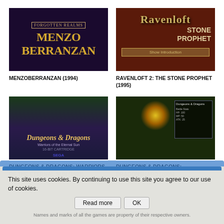[Figure (screenshot): Menzoberranzan (1994) game cover showing golden text on dark purple background with Forgotten Realms logo]
MENZOBERRANZAN (1994)
[Figure (screenshot): Ravenloft 2: The Stone Prophet (1995) game cover showing hooded figure with ghostly hands on red/brown background]
RAVENLOFT 2: THE STONE PROPHET (1995)
[Figure (screenshot): Dungeons & Dragons: Warriors of the Eternal Sun (1992) Sega cartridge game cover]
DUNGEONS & DRAGONS: WARRIORS OF THE ETERNAL SUN (1992)
[Figure (screenshot): Dungeons & Dragons: Dragonshard (2005) gameplay screenshot showing top-down view with glowing creature]
DUNGEONS & DRAGONS: DRAGONSHARD (2005)
This site uses cookies. By continuing to use this site you agree to our use of cookies.
Read more
OK
Names and marks of all the games are property of their respective owners.